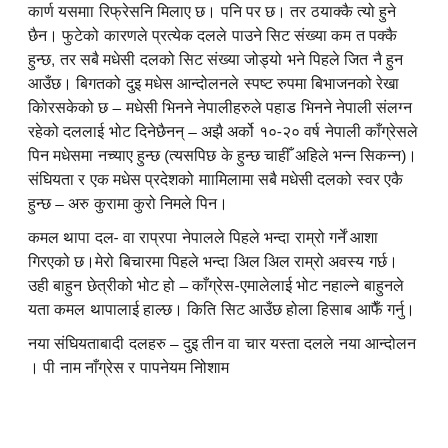कारण यसमाा रिफ्रेसनि मिलाए छ। पनि पर छ। तर ठयाक्कै त्यो हुने छैन। फुटेको कारणले प्रत्येक दलले पाउने सिट संख्या कम त पक्कै हुन्छ, तर सबै मधेसी दलको सिट संख्या जोड्यो भने पिहले जित नै हुन आउँछ। बिगतको दुइ मधेस आन्दोलनले स्पष्ट रुपमा बिभाजनको रेखा कोिरसकेको छ – मधेसी भिनने नेपालीहरुले पहाड भिनने नेपाली संलग्न रहेको दललाई भोट दिनेछैनन् – अझै अर्को १०-२० वर्ष नेपाली काँग्रेसले पिन मधेसमा नच्याए हुन्छ (त्यसपिछ के हुन्छ चाहीँ अहिले भन्न सिकन्न)। संघियता र एक मधेस प्रदेशको माामिलामा सबै मधेसी दलको स्वर एकै हुन्छ – अरु कुरामा कुरो निमले पिन।
कमल थापा दल- वा राप्रपा नेपालले पिहले भन्दा राम्रो गर्ने आशा गिरएको छ।मेरो बिचारमा पिहले भन्दा अिल अिल राम्रो अवस्य गर्छ। उही बाहुन छेत्रीको भोट हो – काँग्रेस-एमालेलाई भोट नहाल्ने बाहुनले यता कमल थापालाई हाल्छ। किति सिट आउँछ होला हिसाब आफैँ गर्नु।
नया संघियताबादी दलहरु – दुइ तीन वा चार यस्ता दलले नया आन्दोलन । पी नाम नाँग्रेस र पापनेयम नोिशाम